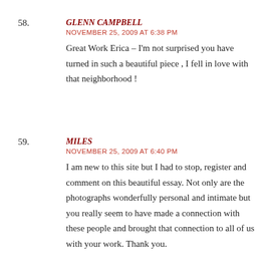58. GLENN CAMPBELL
NOVEMBER 25, 2009 AT 6:38 PM
Great Work Erica – I'm not surprised you have turned in such a beautiful piece , I fell in love with that neighborhood !
59. MILES
NOVEMBER 25, 2009 AT 6:40 PM
I am new to this site but I had to stop, register and comment on this beautiful essay. Not only are the photographs wonderfully personal and intimate but you really seem to have made a connection with these people and brought that connection to all of us with your work. Thank you.